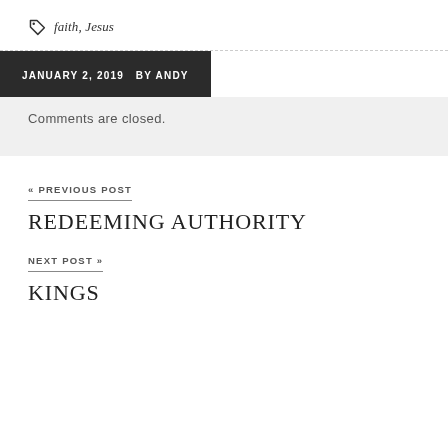faith, Jesus
JANUARY 2, 2019  BY ANDY
Comments are closed.
« PREVIOUS POST
REDEEMING AUTHORITY
NEXT POST »
KINGS